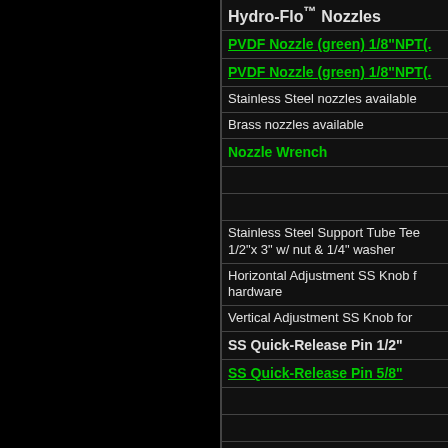Hydro-Flo™ Nozzles
PVDF Nozzle (green) 1/8"NPT(.
PVDF Nozzle (green) 1/8"NPT(.
Stainless Steel nozzles available
Brass nozzles available
Nozzle Wrench
Stainless Steel Support Tube Tee 1/2"x 3" w/ nut & 1/4" washer
Horizontal Adjustment SS Knob f hardware
Vertical Adjustment SS Knob for
SS Quick-Release Pin 1/2"
SS Quick-Release Pin 5/8"
Hydro-Flo™ SS FLEXLINE